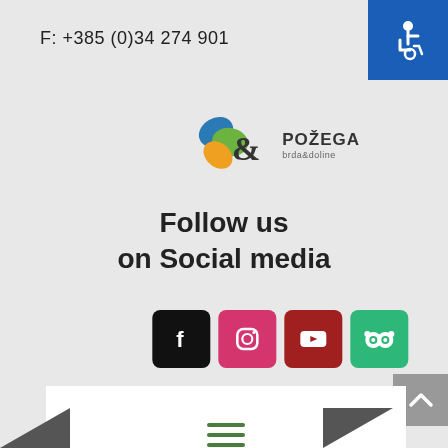F: +385 (0)34 274 901
[Figure (logo): Požega tourism logo with colorful leaf/globe shapes and ampersand symbol, text reads POŽEGA brda&doline]
[Figure (illustration): Accessibility wheelchair icon in white on blue background, top-right corner]
Follow us on Social media
[Figure (infographic): Four social media icons: Facebook (black), Instagram (pink), YouTube (dark red), TripAdvisor (green)]
[Figure (illustration): Back to top button with upward arrow on grey background]
[Figure (illustration): White panel with green hamburger menu icon (three horizontal lines)]